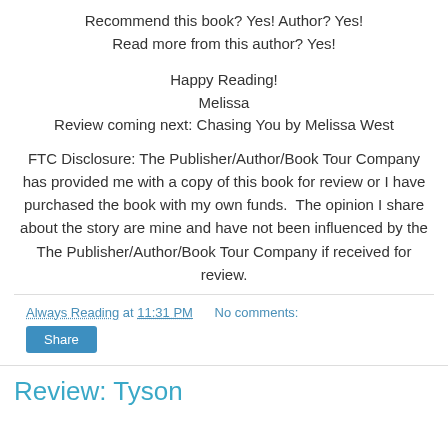Recommend this book? Yes! Author? Yes!
Read more from this author? Yes!
Happy Reading!
Melissa
Review coming next: Chasing You by Melissa West
FTC Disclosure: The Publisher/Author/Book Tour Company has provided me with a copy of this book for review or I have purchased the book with my own funds.  The opinion I share about the story are mine and have not been influenced by the The Publisher/Author/Book Tour Company if received for review.
Always Reading at 11:31 PM   No comments:
Share
Review: Tyson